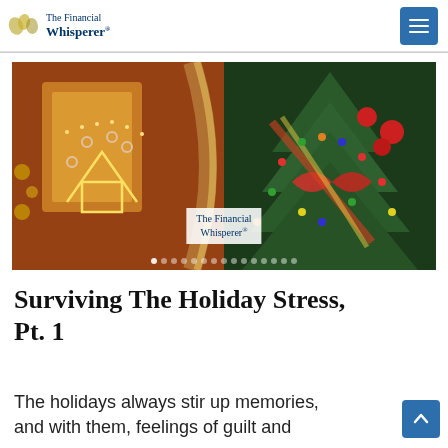The Financial Whisperer®
[Figure (photo): Holiday themed photograph showing Christmas decorations: a building facade with bright orange and yellow string light outlines of gingerbread-style figures on the left, and a decorated Christmas tree with red ornaments, colorful lights, and a striped ribbon bow on the right. A white label reading 'The Financial Whisperer®' is overlaid near the center-bottom of the image. Carousel indicator dots appear at the bottom.]
Surviving The Holiday Stress, Pt. 1
The holidays always stir up memories, and with them, feelings of guilt and